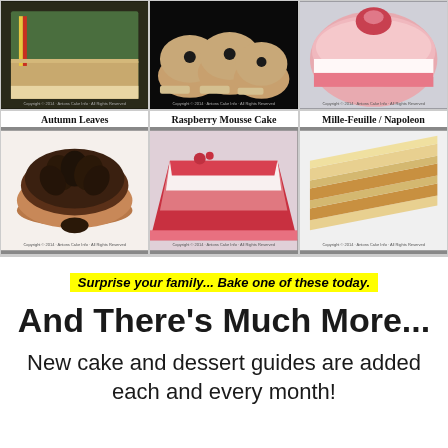[Figure (photo): Green layered cake slice (top row, left)]
[Figure (photo): Round chocolate ball pastries on tray (top row, center)]
[Figure (photo): Pink round layer cake (top row, right)]
Autumn Leaves
[Figure (photo): Autumn Leaves chocolate leaf cake]
Raspberry Mousse Cake
[Figure (photo): Raspberry Mousse Cake slice]
Mille-Feuille / Napoleon
[Figure (photo): Mille-Feuille Napoleon layered pastry]
Surprise your family... Bake one of these today.
And There’s Much More...
New cake and dessert guides are added each and every month!